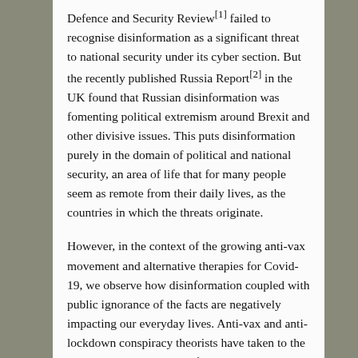Defence and Security Review[1] failed to recognise disinformation as a significant threat to national security under its cyber section. But the recently published Russia Report[2] in the UK found that Russian disinformation was fomenting political extremism around Brexit and other divisive issues. This puts disinformation purely in the domain of political and national security, an area of life that for many people seem as remote from their daily lives, as the countries in which the threats originate.
However, in the context of the growing anti-vax movement and alternative therapies for Covid-19, we observe how disinformation coupled with public ignorance of the facts are negatively impacting our everyday lives. Anti-vax and anti-lockdown conspiracy theorists have taken to the streets in Europe, we cite findings including those...